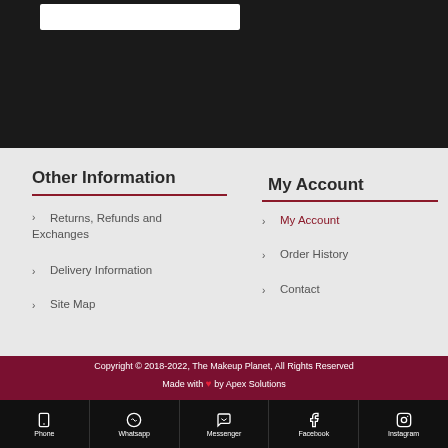Other Information
Returns, Refunds and Exchanges
Delivery Information
Site Map
My Account
My Account
Order History
Contact
Copyright © 2018-2022, The Makeup Planet, All Rights Reserved
Made with ❤ by Apex Solutions
Phone
Whatsapp
Messenger
Facebook
Instagram